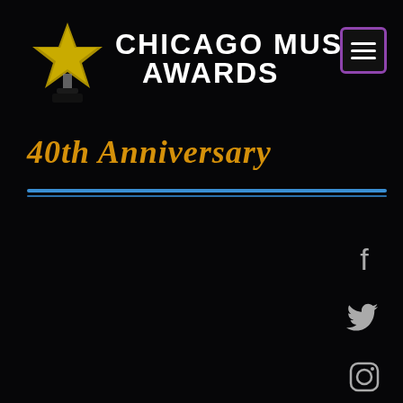[Figure (logo): Chicago Music Awards logo with a gold trophy/star and white bold text reading CHICAGO MUSIC AWARDS, and a purple-bordered hamburger menu button]
40th Anniversary
[Figure (infographic): Social media icons column on right side: Facebook, Twitter, Instagram, YouTube icons in grey/white]